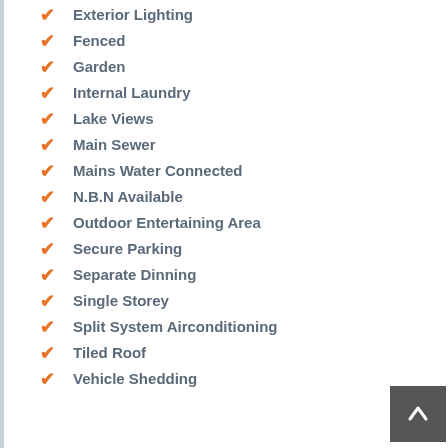Exterior Lighting
Fenced
Garden
Internal Laundry
Lake Views
Main Sewer
Mains Water Connected
N.B.N Available
Outdoor Entertaining Area
Secure Parking
Separate Dinning
Single Storey
Split System Airconditioning
Tiled Roof
Vehicle Shedding